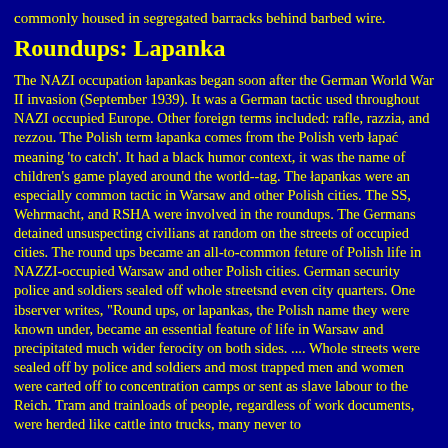commonly housed in segregated barracks behind barbed wire.
Roundups: Lapanka
The NAZI occupation łapankas began soon after the German World War II invasion (September 1939). It was a German tactic used throughout NAZI occupied Europe. Other foreign terms included: rafle, razzia, and rezzou. The Polish term łapanka comes from the Polish verb łapać meaning 'to catch'. It had a black humor context, it was the name of children's game played around the world--tag. The łapankas were an especially common tactic in Warsaw and other Polish cities. The SS, Wehrmacht, and RSHA were involved in the roundups. The Germans detained unsuspecting civilians at random on the streets of occupied cities. The round ups became an all-to-common feture of Polish life in NAZZI-occupied Warsaw and other Polish cities. German security police and soldiers sealed off whole streetsnd even city quarters. One ibserver writes, "Round ups, or lapankas, the Polish name they were known under, became an essential feature of life in Warsaw and precipitated much wider ferocity on both sides. .... Whole streets were sealed off by police and soldiers and most trapped men and women were carted off to concentration camps or sent as slave labour to the Reich. Tram and trainloads of people, regardless of work documents, were herded like cattle into trucks, many never to